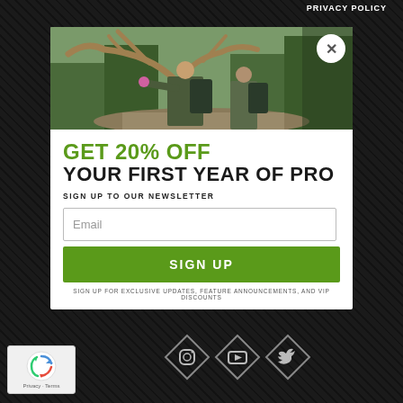PRIVACY POLICY
[Figure (photo): Hunter in outdoor forest scene holding large elk antlers, wearing backpack and camouflage gear, with trees in background]
GET 20% OFF
YOUR FIRST YEAR OF PRO
SIGN UP TO OUR NEWSLETTER
Email
SIGN UP
SIGN UP FOR EXCLUSIVE UPDATES, FEATURE ANNOUNCEMENTS, AND VIP DISCOUNTS
[Figure (logo): reCAPTCHA logo with recycling arrows icon and text 'Privacy - Terms']
[Figure (infographic): Social media icons in diamond shapes: Instagram, YouTube, Twitter]